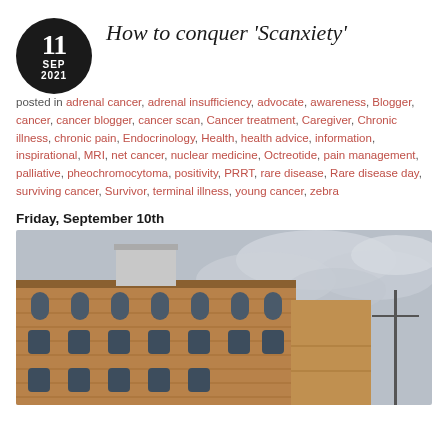How to conquer ‘Scanxiety’
posted in adrenal cancer, adrenal insufficiency, advocate, awareness, Blogger, cancer, cancer blogger, cancer scan, Cancer treatment, Caregiver, Chronic illness, chronic pain, Endocrinology, Health, health advice, information, inspirational, MRI, net cancer, nuclear medicine, Octreotide, pain management, palliative, pheochromocytoma, positivity, PRRT, rare disease, Rare disease day, surviving cancer, Survivor, terminal illness, young cancer, zebra
Friday, September 10th
[Figure (photo): Exterior photograph of a brick hospital building shot from below against a cloudy grey sky. The building has arched windows and several floors visible.]